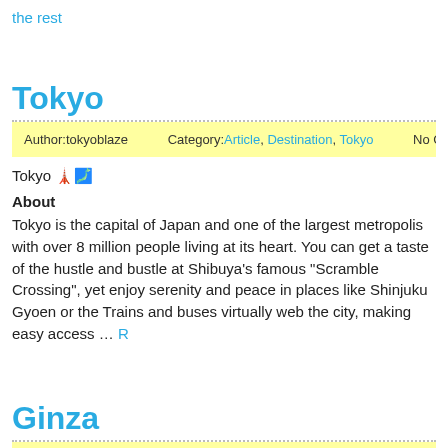the rest
Tokyo
Author:tokyoblaze   Category:Article, Destination, Tokyo   No Comments
Tokyo 🗼🗾
About
Tokyo is the capital of Japan and one of the largest metropolis with over 8 million people living at its heart. You can get a taste of the hustle and bustle at Shibuya's famous "Scramble Crossing", yet enjoy serenity and peace in places like Shinjuku Gyoen or the Trains and buses virtually web the city, making easy access … Read more
Ginza
Author:tokyoblaze   Category:Article, Destination, Tokyo   No Comments
Ginza 🗼🗾
One of the most iconic buildings in Ginza, the Wako department